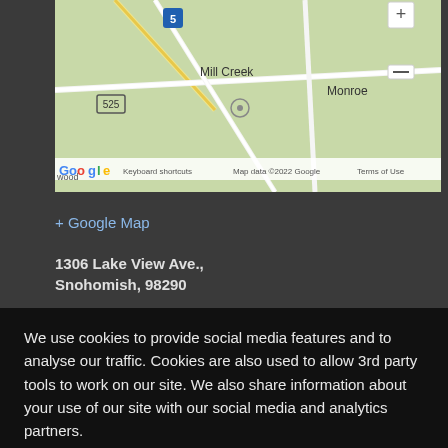[Figure (map): Google Map screenshot showing Mill Creek, Monroe area in Washington State. Shows roads, route markers (525, 5), and Google Maps UI with zoom controls and footer showing keyboard shortcuts and map data copyright 2022 Google.]
+ Google Map
1306 Lake View Ave., Snohomish, 98290
360-568-4622
http://www.stjohnsnohomish.org/
We use cookies to provide social media features and to analyse our traffic. Cookies are also used to allow 3rd party tools to work on our site. We also share information about your use of our site with our social media and analytics partners.